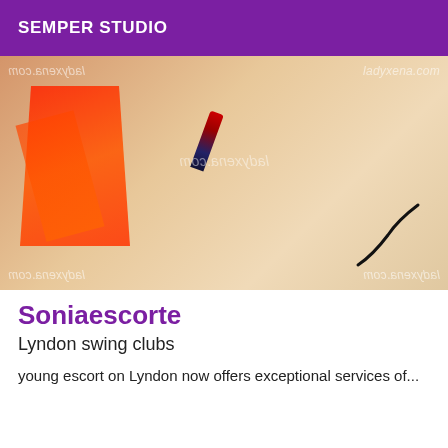SEMPER STUDIO
[Figure (photo): Close-up photo of red lingerie and accessories on white fabric, watermarked with ladyxena.com]
Soniaescorte
Lyndon swing clubs
young escort on Lyndon now offers exceptional services of...